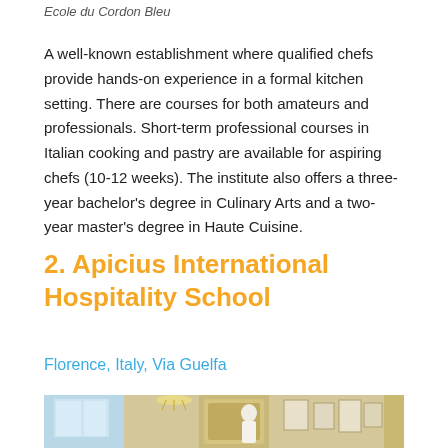Ecole du Cordon Bleu
A well-known establishment where qualified chefs provide hands-on experience in a formal kitchen setting. There are courses for both amateurs and professionals. Short-term professional courses in Italian cooking and pastry are available for aspiring chefs (10-12 weeks). The institute also offers a three-year bachelor's degree in Culinary Arts and a two-year master's degree in Haute Cuisine.
2. Apicius International Hospitality School
Florence, Italy, Via Guelfa
[Figure (photo): Interior photo of the Apicius International Hospitality School, showing a decorated room with chandelier lighting and framed items on the wall, with a person in chef whites visible.]